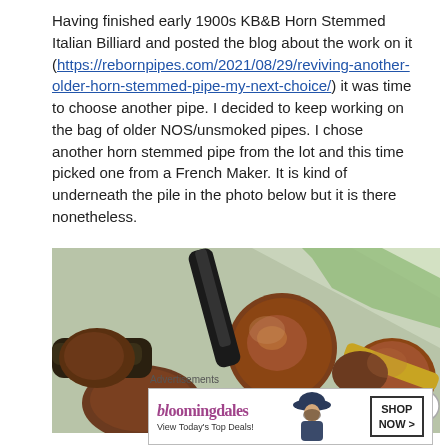Having finished early 1900s KB&B Horn Stemmed Italian Billiard and posted the blog about the work on it (https://rebornpipes.com/2021/08/29/reviving-another-older-horn-stemmed-pipe-my-next-choice/) it was time to choose another pipe. I decided to keep working on the bag of older NOS/unsmoked pipes. I chose another horn stemmed pipe from the lot and this time picked one from a French Maker. It is kind of underneath the pile in the photo below but it is there nonetheless.
[Figure (photo): A pile of old wooden tobacco pipes in a plastic bag, various brown briar pipes stacked together, with a black horn-stemmed pipe visible on top.]
Advertisements
[Figure (screenshot): Bloomingdale's advertisement banner: logo text 'bloomingdales', subtext 'View Today's Top Deals!', image of woman in hat, and 'SHOP NOW >' button.]